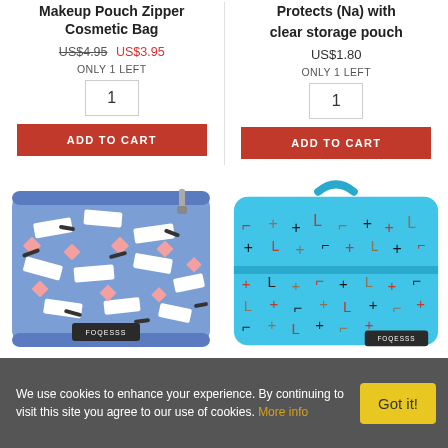Makeup Pouch Zipper Cosmetic Bag
US$4.95  US$3.95
ONLY 1 LEFT
1
ADD TO CART
Protects (Na2) with clear storage pouch
US$1.80
ONLY 1 LEFT
1
ADD TO CART
[Figure (photo): Blue cosmetic bag with pink and white geometric pattern, FOQESSS brand label]
[Figure (photo): Light blue cosmetic bag with colorful geometric/cross pattern and handle, FOQESSS brand label]
We use cookies to enhance your experience. By continuing to visit this site you agree to our use of cookies. More info    Got it!